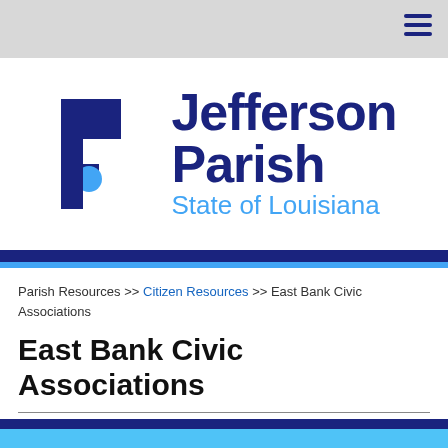[Figure (logo): Jefferson Parish State of Louisiana logo with JP monogram in dark navy blue and light blue accent]
Parish Resources >> Citizen Resources >> East Bank Civic Associations
East Bank Civic Associations
© 2022 Jefferson Parish, LA. All Rights Reserved.